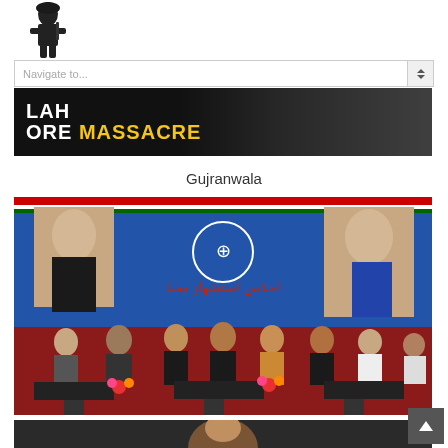Navigate to...
[Figure (photo): LAH ORE MASSACRE banner image with people in background]
Gujranwala
[Figure (photo): Group of men seated at tables at an event in front of a blue Urdu banner with portraits]
[Figure (photo): Close-up of a man at an event, partially visible]